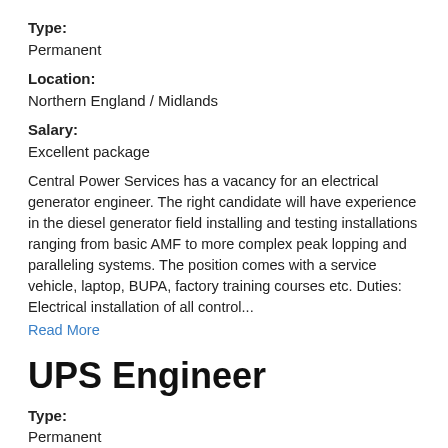Type: Permanent
Location: Northern England / Midlands
Salary: Excellent package
Central Power Services has a vacancy for an electrical generator engineer. The right candidate will have experience in the diesel generator field installing and testing installations ranging from basic AMF to more complex peak lopping and paralleling systems. The position comes with a service vehicle, laptop, BUPA, factory training courses etc. Duties: Electrical installation of all control... Read More
UPS Engineer
Type: Permanent